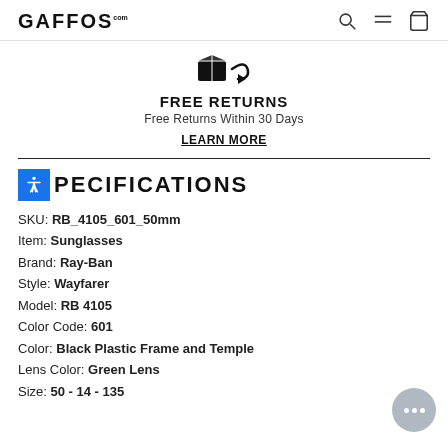GAFFOS.com
[Figure (logo): Free Returns icon showing a box with return arrow]
FREE RETURNS
Free Returns Within 30 Days
LEARN MORE
SPECIFICATIONS
SKU: RB_4105_601_50mm
Item: Sunglasses
Brand: Ray-Ban
Style: Wayfarer
Model: RB 4105
Color Code: 601
Color: Black Plastic Frame and Temple
Lens Color: Green Lens
Size: 50 - 14 - 135